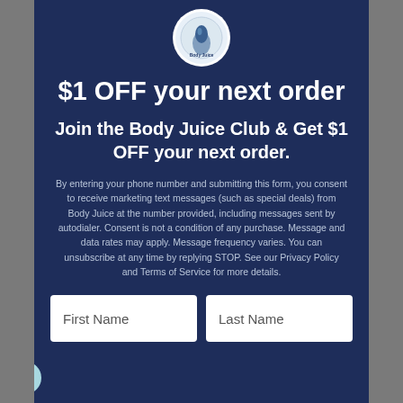[Figure (logo): Circular logo for Body Juice at top of card]
$1 OFF your next order
Join the Body Juice Club & Get $1 OFF your next order.
By entering your phone number and submitting this form, you consent to receive marketing text messages (such as special deals) from Body Juice at the number provided, including messages sent by autodialer. Consent is not a condition of any purchase. Message and data rates may apply. Message frequency varies. You can unsubscribe at any time by replying STOP. See our Privacy Policy and Terms of Service for more details.
First Name | Last Name (form fields)